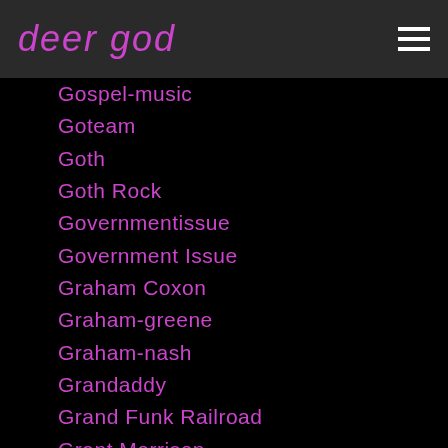deer god
Gospel-music
Goteam
Goth
Goth Rock
Governmentissue
Government Issue
Graham Coxon
Graham-greene
Graham-nash
Grandaddy
Grand Funk Railroad
Grant Morrison
Graphicnovel
Graphic Novel
Grateful-dead
Green Day
Greenjelly